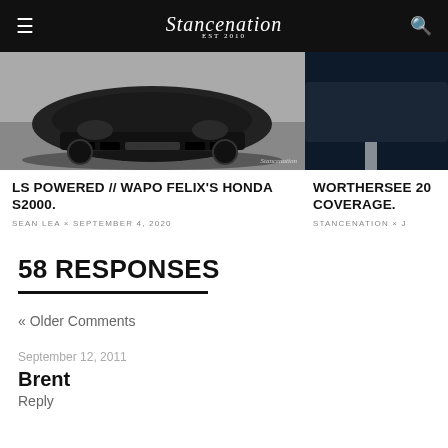Stancenation
[Figure (photo): Front low-angle view of a dark Honda S2000 on pavement with Stancenation watermark]
[Figure (photo): Dark teal/blue toned car photo, partial view]
LS POWERED // WAPO FELIX'S HONDA S2000.
SEAN LEA × SEPTEMBER 4, 2020
WORTHERSEE 20 COVERAGE.
STANCENATION × J
58 RESPONSES
« Older Comments
September 12, 2011
Brent
Reply